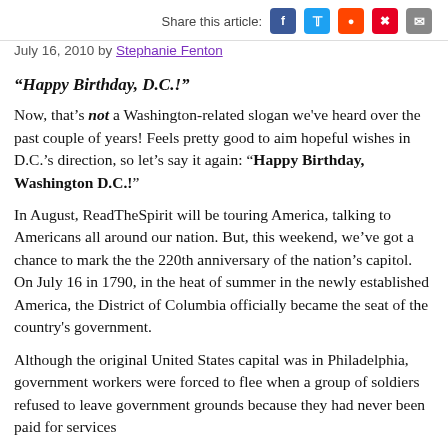Share this article:
July 16, 2010 by Stephanie Fenton
“Happy Birthday, D.C.!”
Now, that’s not a Washington-related slogan we've heard over the past couple of years! Feels pretty good to aim hopeful wishes in D.C.’s direction, so let’s say it again: “Happy Birthday, Washington D.C.!”
In August, ReadTheSpirit will be touring America, talking to Americans all around our nation. But, this weekend, we’ve got a chance to mark the the 220th anniversary of the nation’s capitol. On July 16 in 1790, in the heat of summer in the newly established America, the District of Columbia officially became the seat of the country's government.
Although the original United States capital was in Philadelphia, government workers were forced to flee when a group of soldiers refused to leave government grounds because they had never been paid for services